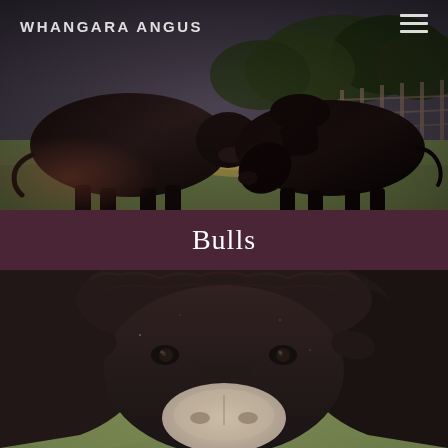[Figure (photo): Two black Angus bulls in a green paddock eating hay, with wooden fence and trees in background. Desaturated/moody edit.]
WHANGARA ANGUS
Bulls
[Figure (photo): Close-up front-facing portrait of a black Angus bull against a green blurred background. Slightly desaturated tones.]